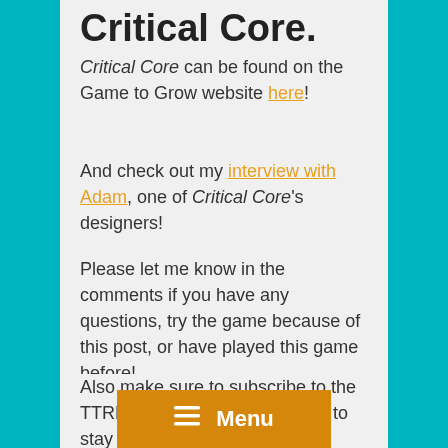Critical Core.
Critical Core can be found on the Game to Grow website here!
And check out my interview with Adam, one of Critical Core's designers!
Please let me know in the comments if you have any questions, try the game because of this post, or have played this game before!
Also make sure to subscribe to the TTRPGkids monthly newsletter to stay up to date on the latest reviews, tips and tricks, game and podcast list updates, and more! Thank you for reading about tabletop RPGs with your kids and I hope it's awesome